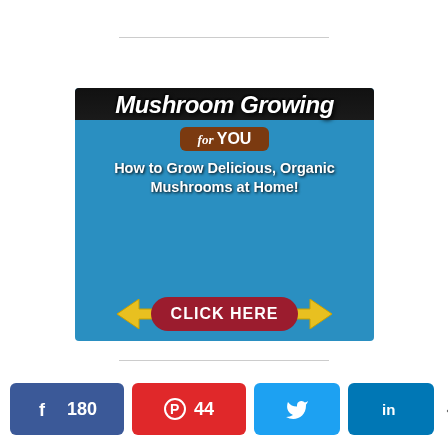[Figure (illustration): Advertisement banner for 'Mushroom Growing for YOU' — How to Grow Delicious, Organic Mushrooms at Home! with a CLICK HERE button, blue background, yellow arrows, and mushroom photos.]
180  44  224 SHARES